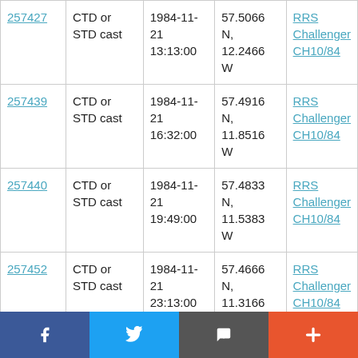| 257427 | CTD or STD cast | 1984-11-21 13:13:00 | 57.5066 N, 12.2466 W | RRS Challenger CH10/84 |
| 257439 | CTD or STD cast | 1984-11-21 16:32:00 | 57.4916 N, 11.8516 W | RRS Challenger CH10/84 |
| 257440 | CTD or STD cast | 1984-11-21 19:49:00 | 57.4833 N, 11.5383 W | RRS Challenger CH10/84 |
| 257452 | CTD or STD cast | 1984-11-21 23:13:00 | 57.4666 N, 11.3166 W | RRS Challenger CH10/84 |